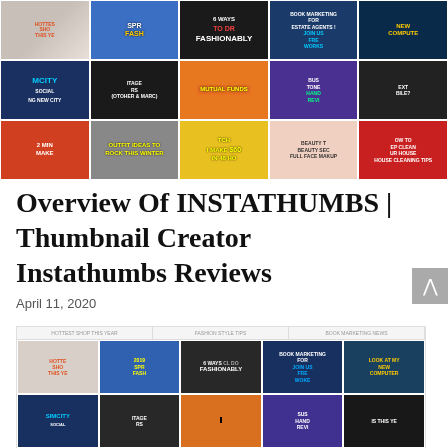[Figure (screenshot): Grid of 15 YouTube-style video thumbnails arranged in 3 rows of 5, showing various topics including fashion, SimCity, mutual funds, beauty, and cleaning tips]
Overview Of INSTATHUMBS | Thumbnail Creator Instathumbs Reviews
April 11, 2020
[Figure (screenshot): Partial screenshot of a browser showing a thumbnail grid similar to the top image, with rows of video thumbnails on a website]